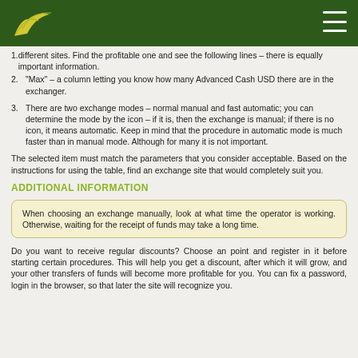different sites. Find the profitable one and see the following lines – there is equally important information.
2. "Max" – a column letting you know how many Advanced Cash USD there are in the exchanger.
3. There are two exchange modes – normal manual and fast automatic; you can determine the mode by the icon – if it is, then the exchange is manual; if there is no icon, it means automatic. Keep in mind that the procedure in automatic mode is much faster than in manual mode. Although for many it is not important.
The selected item must match the parameters that you consider acceptable. Based on the instructions for using the table, find an exchange site that would completely suit you.
ADDITIONAL INFORMATION
When choosing an exchange manually, look at what time the operator is working. Otherwise, waiting for the receipt of funds may take a long time.
Do you want to receive regular discounts? Choose an point and register in it before starting certain procedures. This will help you get a discount, after which it will grow, and your other transfers of funds will become more profitable for you. You can fix a password, login in the browser, so that later the site will recognize you.